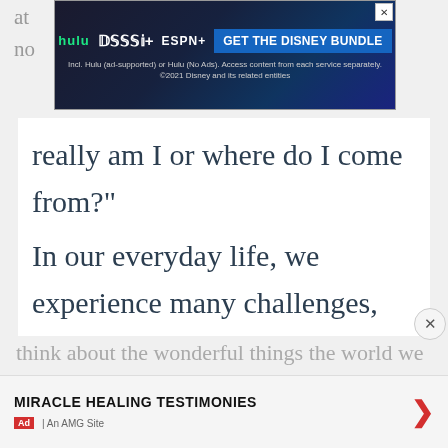[Figure (screenshot): Disney Bundle advertisement banner (Hulu, Disney+, ESPN+) with blue gradient background and GET THE DISNEY BUNDLE button]
really am I or where do I come from?"
In our everyday life, we experience many challenges, problems, and trials in which we sometimes find ourselves hopeless or give up from all iniquities. Frankly, we forget to see the clearer view of things around us. We forget to
think about the wonderful things the world we presently live. We see enormous trees, gigantic mountains
[Figure (screenshot): MIRACLE HEALING TESTIMONIES advertisement with red badge Ad label and An AMG Site attribution, with red arrow chevron]